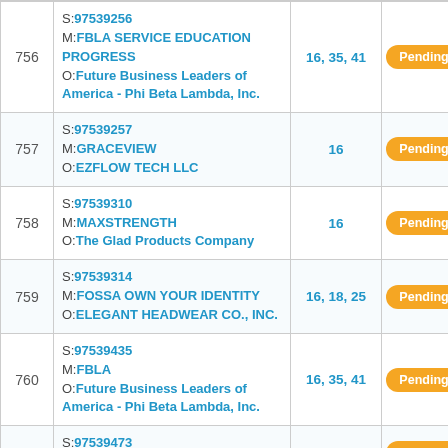| # | Details | Class | Status |
| --- | --- | --- | --- |
| 756 | S:97539256
M:FBLA SERVICE EDUCATION PROGRESS
O:Future Business Leaders of America - Phi Beta Lambda, Inc. | 16, 35, 41 | Pending |
| 757 | S:97539257
M:GRACEVIEW
O:EZFLOW TECH LLC | 16 | Pending |
| 758 | S:97539310
M:MAXSTRENGTH
O:The Glad Products Company | 16 | Pending |
| 759 | S:97539314
M:FOSSA OWN YOUR IDENTITY
O:ELEGANT HEADWEAR CO., INC. | 16, 18, 25 | Pending |
| 760 | S:97539435
M:FBLA
O:Future Business Leaders of America - Phi Beta Lambda, Inc. | 16, 35, 41 | Pending |
| 761 | S:97539473
M:SHXD
O:... | 16 | Pending |